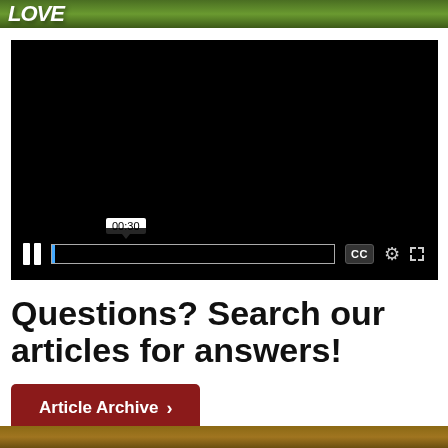[Figure (screenshot): Website header banner with green nature background and partial logo text]
[Figure (screenshot): Video player showing black screen with playback controls: pause button, time tooltip showing 00:30, progress bar, CC button, settings gear icon, and fullscreen expand icon]
Questions? Search our articles for answers!
Article Archive >
[Figure (photo): Partial photo at bottom of page, appears to show a nature or outdoor scene]